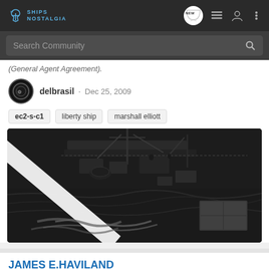SHIPS NOSTALGIA — Navigation bar with NEW chat badge, list icon, user icon, and menu icon
Search Community
(General Agent Agreement).
delbrasil · Dec 25, 2009
ec2-s-c1
liberty ship
marshall elliott
[Figure (photo): Black and white aerial photograph of a Liberty ship at sea, showing the deck machinery, cargo equipment, and hull cutting through dark ocean waters with white wake foam visible.]
JAMES E.HAVILAND